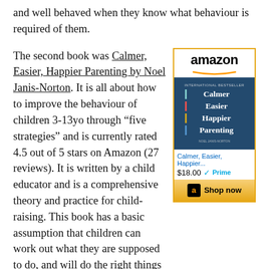and well behaved when they know what behaviour is required of them.
The second book was Calmer, Easier, Happier Parenting by Noel Janis-Norton. It is all about how to improve the behaviour of children 3-13yo through “five strategies” and is currently rated 4.5 out of 5 stars on Amazon (27 reviews). It is written by a child educator and is a comprehensive theory and practice for child-raising. This book has a basic assumption that children can work out what they are supposed to do, and will do the right things when they are supported appropriately and when doing the wrong things no longer works.
[Figure (other): Amazon advertisement for the book 'Calmer, Easier, Happier Parenting' showing the Amazon logo, book cover, title link in blue, price $18.00 with Prime logo, and a Shop now button.]
I seem to recall that I was a near-perfect child. So,